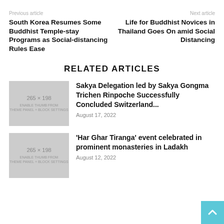Previous article
Next article
South Korea Resumes Some Buddhist Temple-stay Programs as Social-distancing Rules Ease
Life for Buddhist Novices in Thailand Goes On amid Social Distancing
RELATED ARTICLES
[Figure (other): Placeholder thumbnail 265 x 198, Enable thumb from THEME PANEL + BLOCK SETTINGS]
Sakya Delegation led by Sakya Gongma Trichen Rinpoche Successfully Concluded Switzerland...
August 17, 2022
[Figure (other): Placeholder thumbnail 265 x 198, Enable thumb from THEME PANEL + BLOCK SETTINGS]
‘Har Ghar Tiranga’ event celebrated in prominent monasteries in Ladakh
August 12, 2022